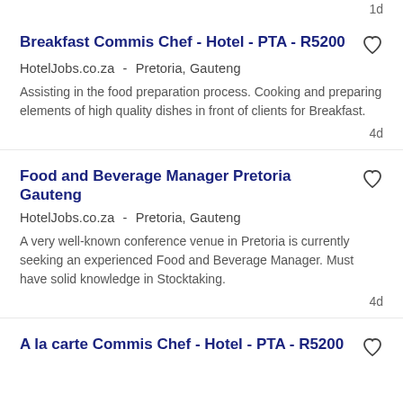1d
Breakfast Commis Chef - Hotel - PTA - R5200
HotelJobs.co.za  -   Pretoria, Gauteng
Assisting in the food preparation process. Cooking and preparing elements of high quality dishes in front of clients for Breakfast.
4d
Food and Beverage Manager Pretoria Gauteng
HotelJobs.co.za  -   Pretoria, Gauteng
A very well-known conference venue in Pretoria is currently seeking an experienced Food and Beverage Manager. Must have solid knowledge in Stocktaking.
4d
A la carte Commis Chef - Hotel - PTA - R5200